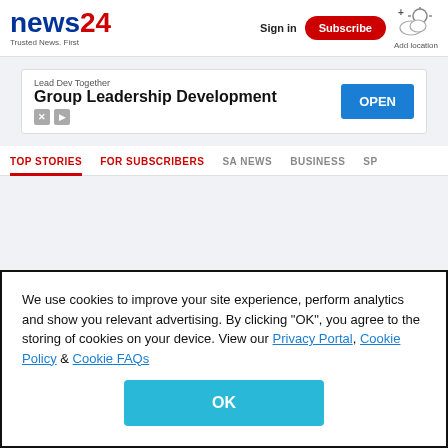news24 - Trusted News. First | Sign in | Subscribe | Add location
[Figure (screenshot): Advertisement banner: Lead Dev Together - Group Leadership Development with OPEN button]
TOP STORIES | FOR SUBSCRIBERS | SA NEWS | BUSINESS | SP...
We use cookies to improve your site experience, perform analytics and show you relevant advertising. By clicking "OK", you agree to the storing of cookies on your device. View our Privacy Portal, Cookie Policy & Cookie FAQs
OK